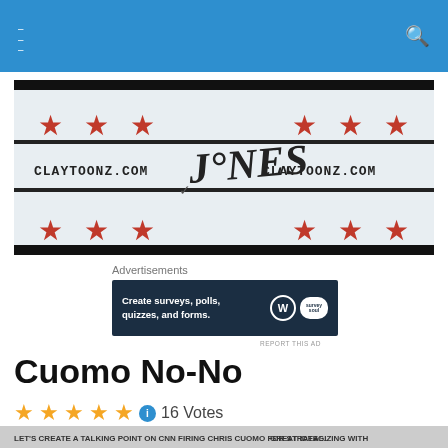Navigation bar with hamburger menu and search icon
[Figure (illustration): Claytoonz.com banner logo with stars and hand-drawn text]
Advertisements
[Figure (other): Advertisement: Create surveys, polls, quizzes, and forms. WordPress logo and Survey Soul icon.]
REPORT THIS AD
Cuomo No-No
16 Votes
[Figure (illustration): Political cartoon showing speech bubbles: 'LET'S CREATE A TALKING POINT ON CNN FIRING CHRIS CUOMO FOR STRATEGIZING WITH' and 'GREAT IDEA!...']